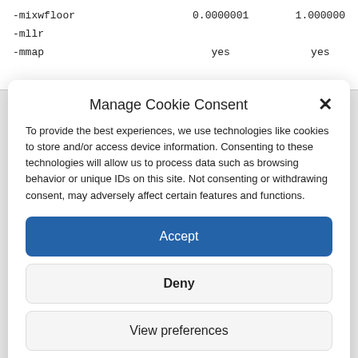| Parameter | Value1 | Value2 |
| --- | --- | --- |
| -mixwfloor | 0.0000001 | 1.000000 |
| -mllr |  |  |
| -mmap | yes | yes |
Manage Cookie Consent
To provide the best experiences, we use technologies like cookies to store and/or access device information. Consenting to these technologies will allow us to process data such as browsing behavior or unique IDs on this site. Not consenting or withdrawing consent, may adversely affect certain features and functions.
Accept
Deny
View preferences
About & Impressum & Privacy Policy
About & Impressum & Privacy Policy
About & Impressum & Privacy Policy